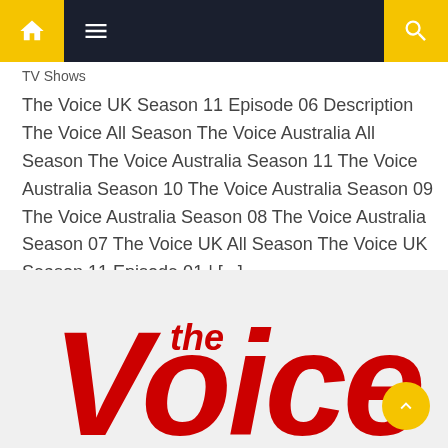Navigation bar with home, menu, and search icons
TV Shows
The Voice UK Season 11 Episode 06 Description The Voice All Season The Voice Australia All Season The Voice Australia Season 11 The Voice Australia Season 10 The Voice Australia Season 09 The Voice Australia Season 08 The Voice Australia Season 07 The Voice UK All Season The Voice UK Season 11 Episode 01 | [...]
[Figure (logo): The Voice logo in large red bold text on light gray background, showing 'the Voice' in stylized red lettering, partially cropped]